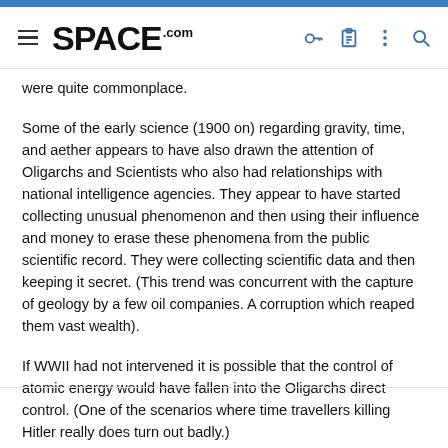SPACE.com
were quite commonplace.
Some of the early science (1900 on) regarding gravity, time, and aether appears to have also drawn the attention of Oligarchs and Scientists who also had relationships with national intelligence agencies. They appear to have started collecting unusual phenomenon and then using their influence and money to erase these phenomena from the public scientific record. They were collecting scientific data and then keeping it secret. (This trend was concurrent with the capture of geology by a few oil companies. A corruption which reaped them vast wealth).
If WWII had not intervened it is possible that the control of atomic energy would have fallen into the Oligarchs direct control. (One of the scenarios where time travellers killing Hitler really does turn out badly.)